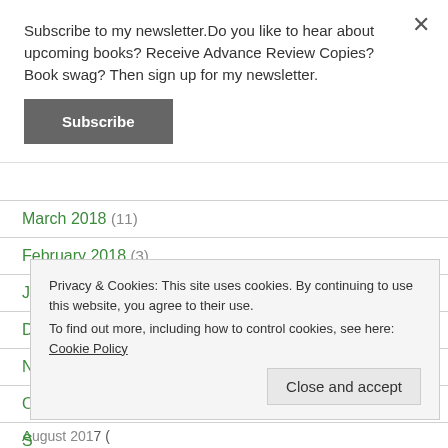Subscribe to my newsletter.Do you like to hear about upcoming books? Receive Advance Review Copies? Book swag? Then sign up for my newsletter.
Subscribe
March 2018 (11)
February 2018 (3)
January 2018 (7)
December 2017 (8)
Privacy & Cookies: This site uses cookies. By continuing to use this website, you agree to their use.
To find out more, including how to control cookies, see here: Cookie Policy
Close and accept